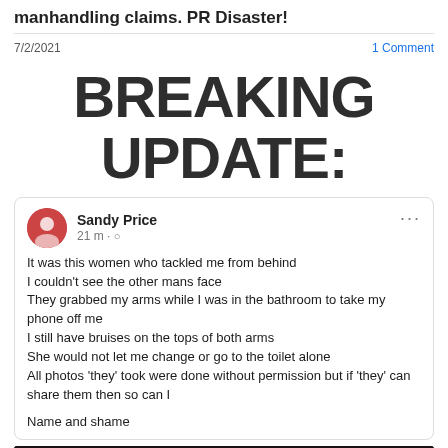manhandling claims. PR Disaster!
7/2/2021
1 Comment
[Figure (screenshot): Large bold text reading BREAKING UPDATE: on white background]
[Figure (screenshot): Facebook post by Sandy Price, 21 m ago, with globe icon. Post reads: It was this women who tackled me from behind / I couldn't see the other mans face / They grabbed my arms while I was in the bathroom to take my phone off me / I still have bruises on the tops of both arms / She would not let me change or go to the toilet alone / All photos 'they' took were done without permission but if 'they' can share them then so can I / Name and shame]
[Figure (photo): Dark/dimly lit photograph at bottom of page, partially visible]